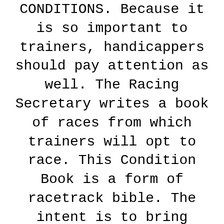CONDITIONS. Because it is so important to trainers, handicappers should pay attention as well. The Racing Secretary writes a book of races from which trainers will opt to race. This Condition Book is a form of racetrack bible. The intent is to bring horses of near equal ability together to race for purse money. Some races are open to all. Most races restrict or bar certain horses.